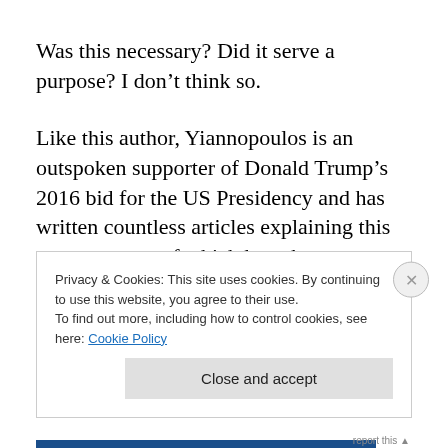Was this necessary? Did it serve a purpose? I don't think so.
Like this author, Yiannopoulos is an outspoken supporter of Donald Trump's 2016 bid for the US Presidency and has written countless articles explaining this support, most of which have been reasoned and compelling. But on this matter, too, he has a tendency to drift into inexplicable
Privacy & Cookies: This site uses cookies. By continuing to use this website, you agree to their use.
To find out more, including how to control cookies, see here: Cookie Policy
Close and accept